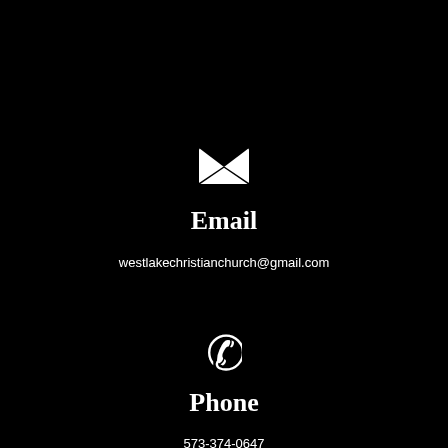[Figure (illustration): White envelope/mail icon centered on black background]
Email
westlakechristianchurch@gmail.com
[Figure (illustration): White phone handset icon centered on black background]
Phone
573-374-0647
[Figure (illustration): White location/map pin icon centered on black background]